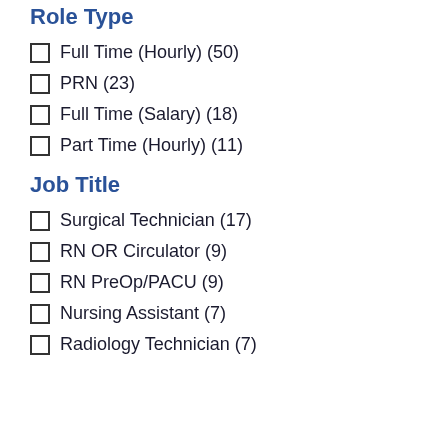Role Type
Full Time (Hourly) (50)
PRN (23)
Full Time (Salary) (18)
Part Time (Hourly) (11)
Job Title
Surgical Technician (17)
RN OR Circulator (9)
RN PreOp/PACU (9)
Nursing Assistant (7)
Radiology Technician (7)